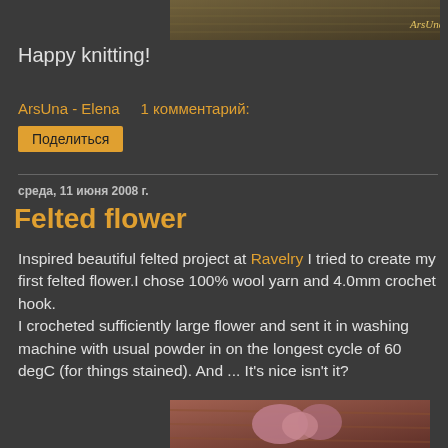[Figure (photo): Knitting/crochet texture photo with ArsUna watermark at top right]
Happy knitting!
ArsUna - Elena    1 комментарий:
Поделиться
среда, 11 июня 2008 г.
Felted flower
Inspired beautiful felted project at Ravelry I tried to create my first felted flower.I chose 100% wool yarn and 4.0mm crochet hook.
I crocheted sufficiently large flower and sent it in washing machine with usual powder in on the longest cycle of 60 degC (for things stained). And ... It's nice isn't it?
[Figure (photo): Photo of a pink felted flower on wooden surface]